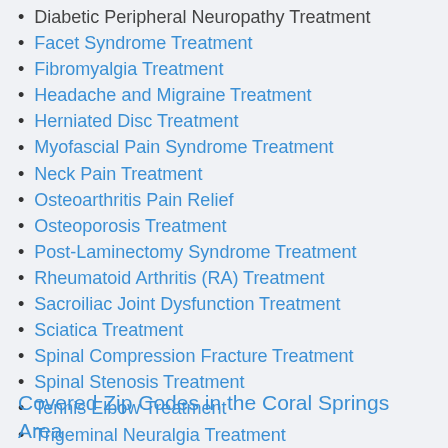Diabetic Peripheral Neuropathy Treatment
Facet Syndrome Treatment
Fibromyalgia Treatment
Headache and Migraine Treatment
Herniated Disc Treatment
Myofascial Pain Syndrome Treatment
Neck Pain Treatment
Osteoarthritis Pain Relief
Osteoporosis Treatment
Post-Laminectomy Syndrome Treatment
Rheumatoid Arthritis (RA) Treatment
Sacroiliac Joint Dysfunction Treatment
Sciatica Treatment
Spinal Compression Fracture Treatment
Spinal Stenosis Treatment
Tennis Elbow Treatment
Trigeminal Neuralgia Treatment
Covered Zip Codes in the Coral Springs Area